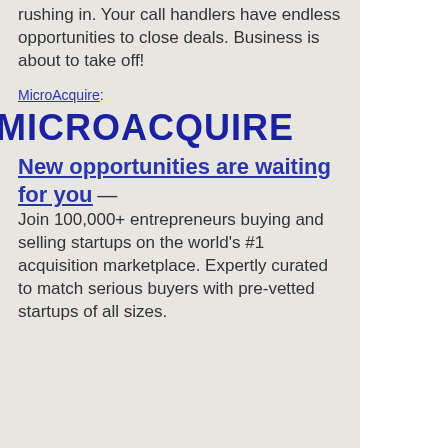Phone calls are rushing in. Your call handlers have endless opportunities to close deals. Business is about to take off!
MicroAcquire:
[Figure (logo): MICROACQUIRE logo in large bold dark blue uppercase letters]
New opportunities are waiting for you — Join 100,000+ entrepreneurs buying and selling startups on the world's #1 acquisition marketplace. Expertly curated to match serious buyers with pre-vetted startups of all sizes.